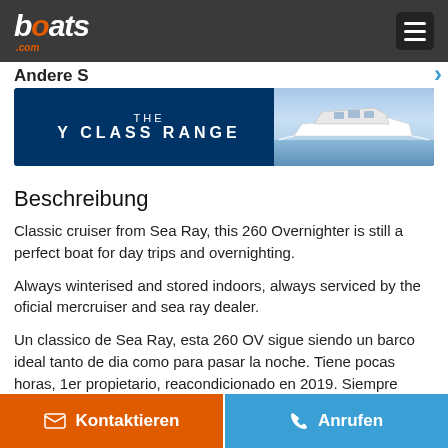boats.com
[Figure (illustration): THE Y CLASS RANGE advertisement banner showing a white motor yacht on water with dark blue background]
Beschreibung
Classic cruiser from Sea Ray, this 260 Overnighter is still a perfect boat for day trips and overnighting.
Always winterised and stored indoors, always serviced by the oficial mercruiser and sea ray dealer.
Un classico de Sea Ray, esta 260 OV sigue siendo un barco ideal tanto de dia como para pasar la noche. Tiene pocas horas, 1er propietario, reacondicionado en 2019. Siempre mantenido por Marina Marbella Ibiza.
Kontaktieren  Anrufen